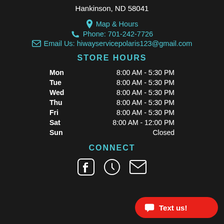Hankinson, ND 58041
Map & Hours
Phone: 701-242-7726
Email Us: hiwayservicepolaris123@gmail.com
STORE HOURS
| Day | Hours |
| --- | --- |
| Mon | 8:00 AM - 5:30 PM |
| Tue | 8:00 AM - 5:30 PM |
| Wed | 8:00 AM - 5:30 PM |
| Thu | 8:00 AM - 5:30 PM |
| Fri | 8:00 AM - 5:30 PM |
| Sat | 8:00 AM - 12:00 PM |
| Sun | Closed |
CONNECT
[Figure (infographic): Three social/contact icons: Facebook, clock/hours, envelope/email]
Text us!